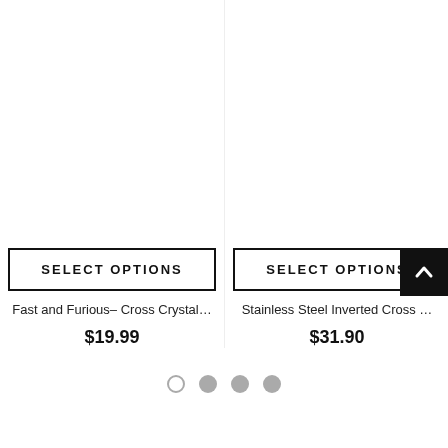[Figure (screenshot): E-commerce product listing page showing two product columns with SELECT OPTIONS buttons, product titles and prices, a back-to-top button, and pagination dots.]
SELECT OPTIONS
Fast and Furious- Cross Crystal...
$19.99
SELECT OPTIONS
Stainless Steel Inverted Cross ...
$31.90